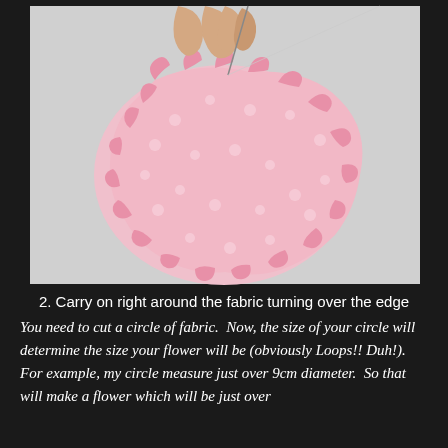[Figure (photo): A hand holding a needle and thread, sewing a running stitch around the edge of a pink polka-dot circular fabric piece. The fabric edges are turned over and gathered, forming ruffled loops around the perimeter. Background is a light gray surface.]
2. Carry on right around the fabric turning over the edge
You need to cut a circle of fabric.  Now, the size of your circle will determine the size your flower will be (obviously Loops!! Duh!).  For example, my circle measure just over 9cm diameter.  So that will make a flower which will be just over